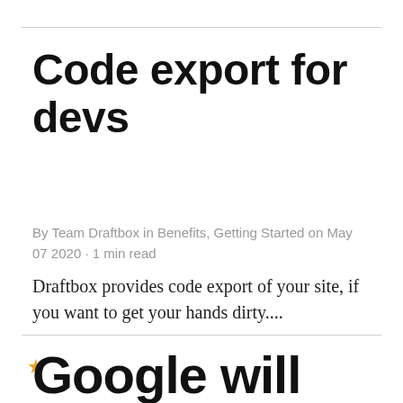Code export for devs
By Team Draftbox in Benefits, Getting Started on May 07 2020 · 1 min read
Draftbox provides code export of your site, if you want to get your hands dirty....
Google will love